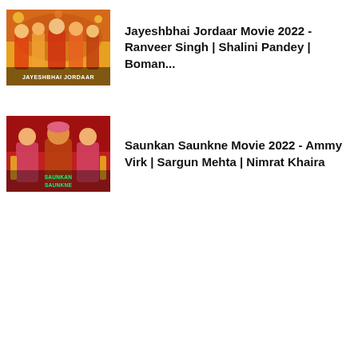[Figure (photo): Jayeshbhai Jordaar movie poster thumbnail showing colorful characters]
Jayeshbhai Jordaar Movie 2022 - Ranveer Singh | Shalini Pandey | Boman...
[Figure (photo): Saunkan Saunkne movie poster thumbnail showing colorful Punjabi film characters]
Saunkan Saunkne Movie 2022 - Ammy Virk | Sargun Mehta | Nimrat Khaira